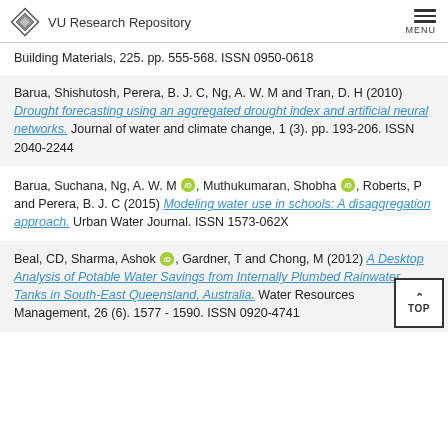VU Research Repository
Building Materials, 225. pp. 555-568. ISSN 0950-0618
Barua, Shishutosh, Perera, B. J. C, Ng, A. W. M and Tran, D. H (2010) Drought forecasting using an aggregated drought index and artificial neural networks. Journal of water and climate change, 1 (3). pp. 193-206. ISSN 2040-2244
Barua, Suchana, Ng, A. W. M [orcid], Muthukumaran, Shobha [orcid], Roberts, P and Perera, B. J. C (2015) Modeling water use in schools: A disaggregation approach. Urban Water Journal. ISSN 1573-062X
Beal, CD, Sharma, Ashok [orcid], Gardner, T and Chong, M (2012) A Desktop Analysis of Potable Water Savings from Internally Plumbed Rainwater Tanks in South-East Queensland, Australia. Water Resources Management, 26 (6). 1577 - 1590. ISSN 0920-4741